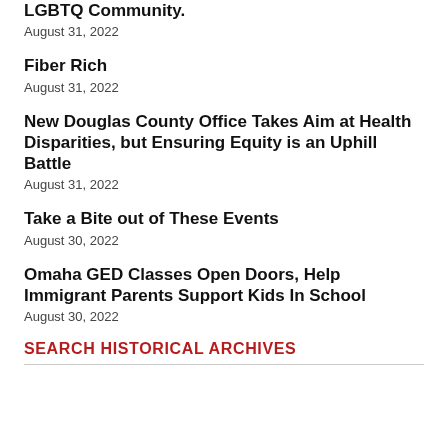LGBTQ Community.
August 31, 2022
Fiber Rich
August 31, 2022
New Douglas County Office Takes Aim at Health Disparities, but Ensuring Equity is an Uphill Battle
August 31, 2022
Take a Bite out of These Events
August 30, 2022
Omaha GED Classes Open Doors, Help Immigrant Parents Support Kids In School
August 30, 2022
SEARCH HISTORICAL ARCHIVES